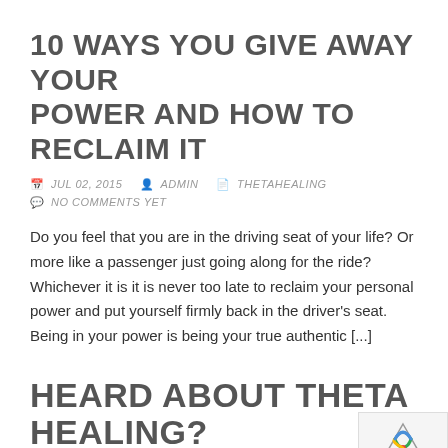10 WAYS YOU GIVE AWAY YOUR POWER AND HOW TO RECLAIM IT
JUL 02, 2015  ADMIN  THETAHEALING  NO COMMENTS YET
Do you feel that you are in the driving seat of your life? Or more like a passenger just going along for the ride? Whichever it is it is never too late to reclaim your personal power and put yourself firmly back in the driver's seat. Being in your power is being your true authentic [...]
HEARD ABOUT THETA HEALING?
JUL 01, 2015  ADMIN  THETAHEALING  NO COMMENTS YET